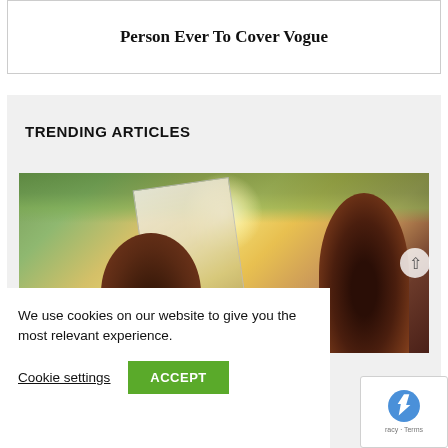Person Ever To Cover Vogue
TRENDING ARTICLES
[Figure (photo): Outdoor photo showing two people with dark hair, one holding a mirror or book, with sunlit trees in background]
We use cookies on our website to give you the most relevant experience.
Cookie settings
ACCEPT